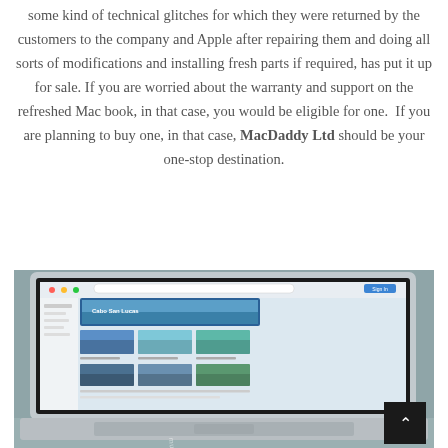some kind of technical glitches for which they were returned by the customers to the company and Apple after repairing them and doing all sorts of modifications and installing fresh parts if required, has put it up for sale. If you are worried about the warranty and support on the refreshed Mac book, in that case, you would be eligible for one.  If you are planning to buy one, in that case, MacDaddy Ltd should be your one-stop destination.
[Figure (photo): Photo of a MacBook laptop open on a desk, displaying a web browser showing a travel website with images of coastal scenery (Cabo San Lucas). The keyboard is visible at the bottom. A dark back-to-top button appears in the lower right corner.]